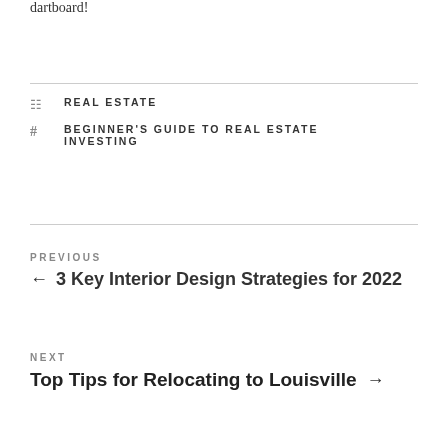dartboard!
REAL ESTATE
BEGINNER'S GUIDE TO REAL ESTATE INVESTING
PREVIOUS
← 3 Key Interior Design Strategies for 2022
NEXT
Top Tips for Relocating to Louisville →